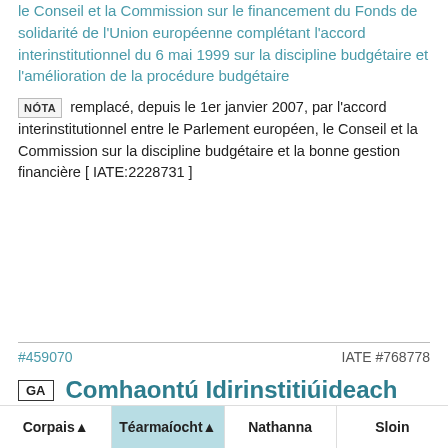le Conseil et la Commission sur le financement du Fonds de solidarité de l'Union européenne complétant l'accord interinstitutionnel du 6 mai 1999 sur la discipline budgétaire et l'amélioration de la procédure budgétaire
NÓTA remplacé, depuis le 1er janvier 2007, par l'accord interinstitutionnel entre le Parlement européen, le Conseil et la Commission sur la discipline budgétaire et la bonne gestion financière [ IATE:2228731 ]
#459070   IATE #768778
GA  Comhaontú Idirinstitiúideach
TAGAIRT Faomhadh an téarma seo mar chuid de Thionscadal Lex
Corpais ▲   Téarmaíocht ▲   Nathanna   Sloin